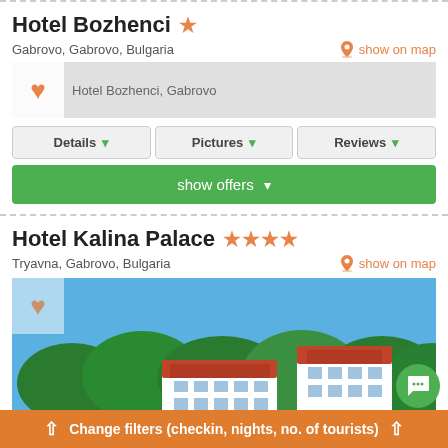Hotel Bozhenci ★
Gabrovo, Gabrovo, Bulgaria
show on map
[Figure (photo): Hotel Bozhenci, Gabrovo – placeholder image with heart icon]
Details ▾
Pictures ▾
Reviews ▾
show offers ▾
Hotel Kalina Palace ★★★★
Tryavna, Gabrovo, Bulgaria
show on map
[Figure (photo): Hotel Kalina Palace exterior photo – white hotel building with red roof surrounded by green trees against blue sky]
Change filters (checkin, nights, no. of tourists)